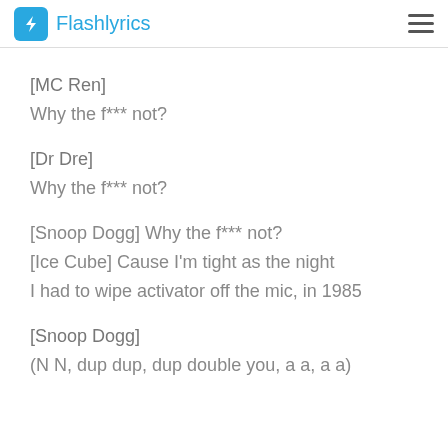Flashlyrics
[MC Ren]
Why the f*** not?
[Dr Dre]
Why the f*** not?
[Snoop Dogg] Why the f*** not?
[Ice Cube] Cause I'm tight as the night
I had to wipe activator off the mic, in 1985
[Snoop Dogg]
(N N, dup dup, dup double you, a a, a a)